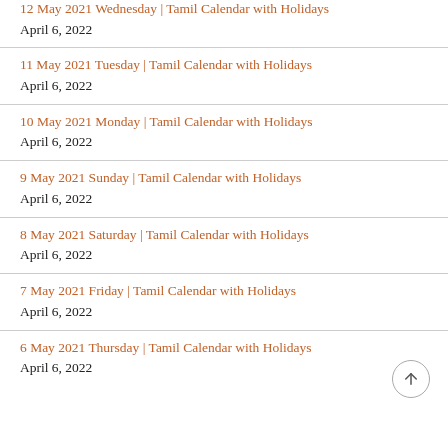12 May 2021 Wednesday | Tamil Calendar with Holidays April 6, 2022
11 May 2021 Tuesday | Tamil Calendar with Holidays April 6, 2022
10 May 2021 Monday | Tamil Calendar with Holidays April 6, 2022
9 May 2021 Sunday | Tamil Calendar with Holidays April 6, 2022
8 May 2021 Saturday | Tamil Calendar with Holidays April 6, 2022
7 May 2021 Friday | Tamil Calendar with Holidays April 6, 2022
6 May 2021 Thursday | Tamil Calendar with Holidays April 6, 2022